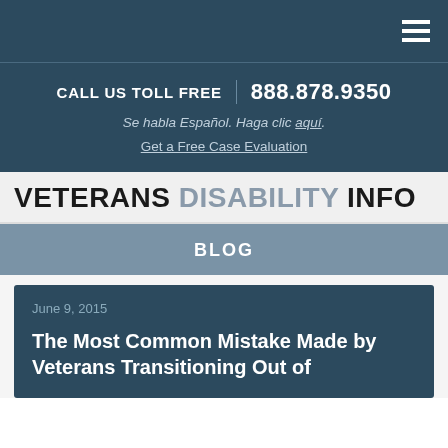Navigation bar with hamburger menu
CALL US TOLL FREE | 888.878.9350
Se habla Español. Haga clic aquí.
Get a Free Case Evaluation
VETERANS DISABILITY INFO
BLOG
June 9, 2015
The Most Common Mistake Made by Veterans Transitioning Out of